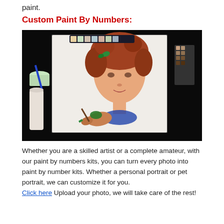paint.
Custom Paint By Numbers:
[Figure (photo): A person painting a portrait of a young girl with curly auburn hair on a large canvas, surrounded by paint supplies including tubes and small paint containers on a dark background.]
Whether you are a skilled artist or a complete amateur, with our paint by numbers kits, you can turn every photo into paint by number kits. Whether a personal portrait or pet portrait, we can customize it for you. Click here Upload your photo, we will take care of the rest!